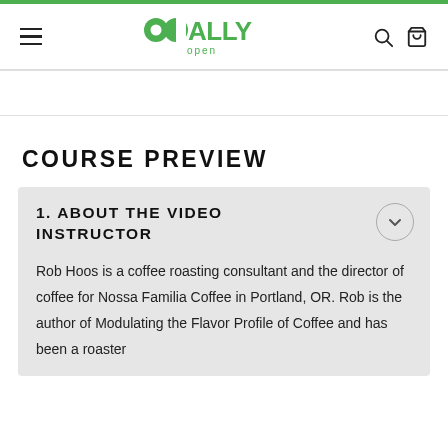Odd Ally Open — navigation header with logo, hamburger menu, search and cart icons
COURSE PREVIEW
1. ABOUT THE VIDEO INSTRUCTOR
Rob Hoos is a coffee roasting consultant and the director of coffee for Nossa Familia Coffee in Portland, OR. Rob is the author of Modulating the Flavor Profile of Coffee and has been a roaster